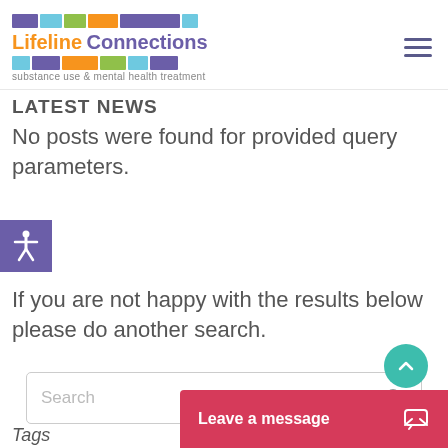Lifeline Connections — substance use & mental health treatment
Latest News
No posts were found for provided query parameters.
[Figure (other): Accessibility icon - person with arms and legs outstretched on purple background]
If you are not happy with the results below please do another search.
Search
Tags